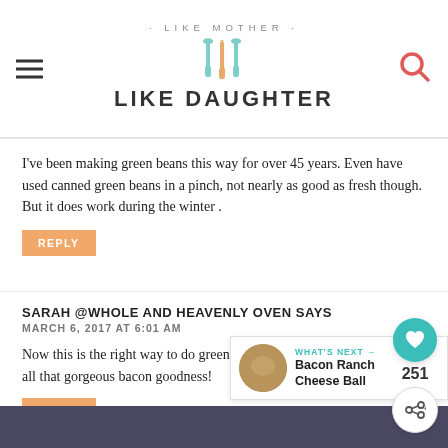· LIKE MOTHER · LIKE DAUGHTER
I've been making green beans this way for over 45 years. Even have used canned green beans in a pinch, not nearly as good as fresh though. But it does work during the winter .
REPLY
SARAH @WHOLE AND HEAVENLY OVEN SAYS
MARCH 6, 2017 AT 6:01 AM
Now this is the right way to do green beans!! Absolutely loving all that gorgeous bacon goodness!
REPLY
[Figure (infographic): Social sharing widget with heart icon showing 251 likes and a share button]
[Figure (infographic): What's Next banner showing Bacon Ranch Cheese Ball with thumbnail image]